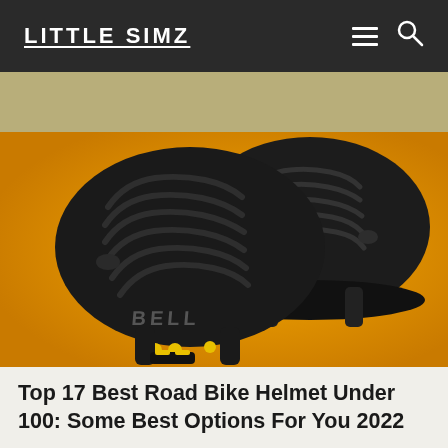LITTLE SIMZ
[Figure (photo): Two black Bell road bike helmets with MIPS technology displayed against an orange/yellow gradient background. The helmets show ventilation slots and the Bell brand logo. One helmet is in the foreground and one slightly behind and to the right.]
Top 17 Best Road Bike Helmet Under 100: Some Best Options For You 2022